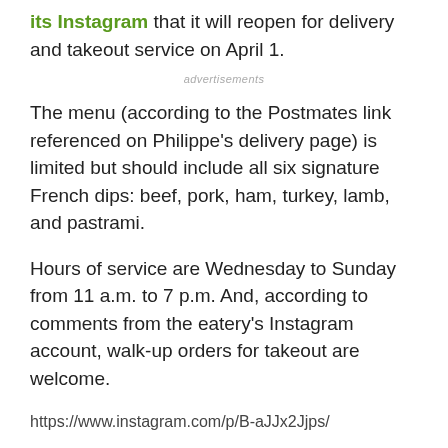its Instagram that it will reopen for delivery and takeout service on April 1.
advertisements
The menu (according to the Postmates link referenced on Philippe's delivery page) is limited but should include all six signature French dips: beef, pork, ham, turkey, lamb, and pastrami.
Hours of service are Wednesday to Sunday from 11 a.m. to 7 p.m. And, according to comments from the eatery's Instagram account, walk-up orders for takeout are welcome.
https://www.instagram.com/p/B-aJJx2Jjps/